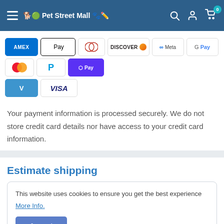Pet Street Mall — navigation bar with hamburger menu, search, account, and cart icons
[Figure (other): Payment method icons: AMEX, Apple Pay, Diners Club, Discover, Meta Pay, Google Pay, Mastercard, PayPal, Shop Pay (purple), Venmo, Visa]
Your payment information is processed securely. We do not store credit card details nor have access to your credit card information.
Estimate shipping
This website uses cookies to ensure you get the best experience More Info.
Accept
Province